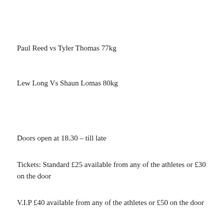Paul Reed vs Tyler Thomas 77kg
Lew Long Vs Shaun Lomas 80kg
Doors open at 18.30 – till late
Tickets: Standard £25 available from any of the athletes or £30 on the door
V.I.P £40 available from any of the athletes or £50 on the door